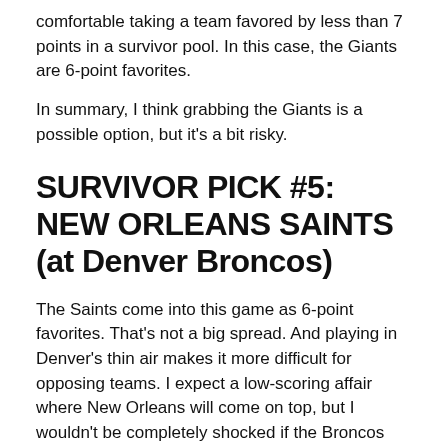comfortable taking a team favored by less than 7 points in a survivor pool. In this case, the Giants are 6-point favorites.
In summary, I think grabbing the Giants is a possible option, but it's a bit risky.
SURVIVOR PICK #5: NEW ORLEANS SAINTS (at Denver Broncos)
The Saints come into this game as 6-point favorites. That's not a big spread. And playing in Denver's thin air makes it more difficult for opposing teams. I expect a low-scoring affair where New Orleans will come on top, but I wouldn't be completely shocked if the Broncos pulled off the upset either.
Taysom Hill will start under center for the second straight